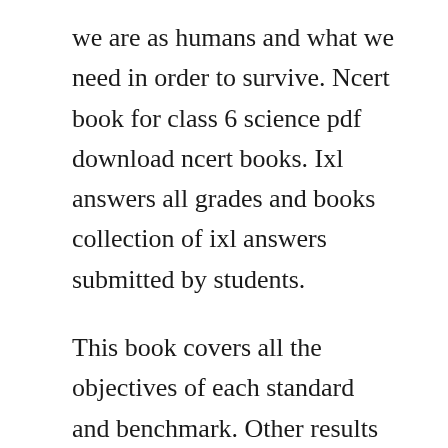we are as humans and what we need in order to survive. Ncert book for class 6 science pdf download ncert books. Ixl answers all grades and books collection of ixl answers submitted by students.
This book covers all the objectives of each standard and benchmark. Other results for pearson realize answer key 6th grade. Put that knowledge to use and try science projects in your own home. Interactive textbook grade 16 interactive textbook, grade 1 interactive textbook, grade 2 interactive textbook, grade 3